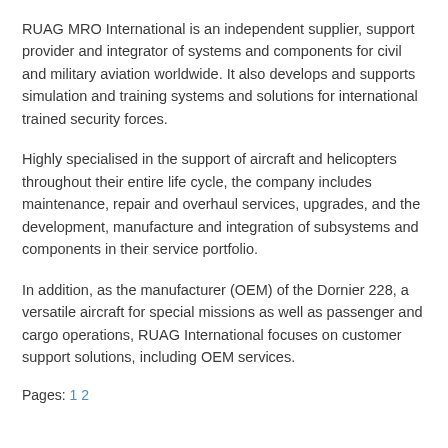RUAG MRO International is an independent supplier, support provider and integrator of systems and components for civil and military aviation worldwide. It also develops and supports simulation and training systems and solutions for international trained security forces.
Highly specialised in the support of aircraft and helicopters throughout their entire life cycle, the company includes maintenance, repair and overhaul services, upgrades, and the development, manufacture and integration of subsystems and components in their service portfolio.
In addition, as the manufacturer (OEM) of the Dornier 228, a versatile aircraft for special missions as well as passenger and cargo operations, RUAG International focuses on customer support solutions, including OEM services.
Pages: 1 2